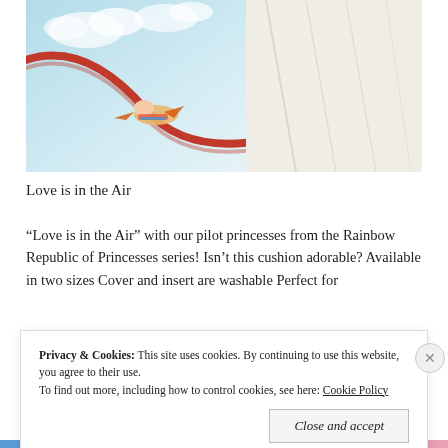[Figure (photo): A decorative cushion/pillow with an illustration of a pilot princess flying a plane, with clouds in the background. The cushion has a red border trim. A white pillow or bedding is visible beside it.]
Love is in the Air
“Love is in the Air” with our pilot princesses from the Rainbow Republic of Princesses series! Isn’t this cushion adorable? Available in two sizes Cover and insert are washable Perfect for
Privacy & Cookies: This site uses cookies. By continuing to use this website, you agree to their use. To find out more, including how to control cookies, see here: Cookie Policy
Close and accept